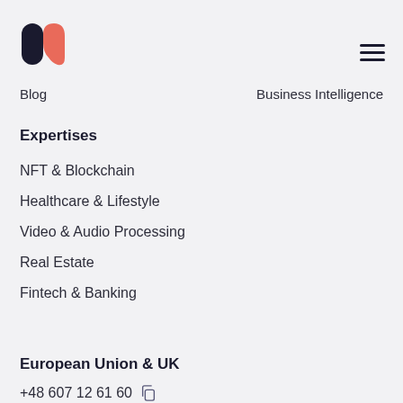[Figure (logo): Two overlapping shapes forming a stylized 'M' logo — a dark navy oval on the left and a salmon/coral rounded shape on the right]
Blog
Business Intelligence
Expertises
NFT & Blockchain
Healthcare & Lifestyle
Video & Audio Processing
Real Estate
Fintech & Banking
European Union & UK
+48 607 12 61 60